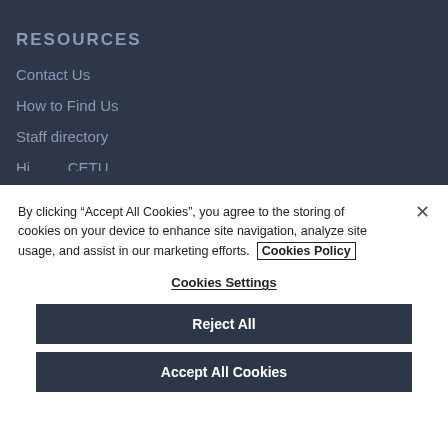RESOURCES
Contact Us
How to Find Us
Staff directory
By clicking “Accept All Cookies”, you agree to the storing of cookies on your device to enhance site navigation, analyze site usage, and assist in our marketing efforts. Cookies Policy
Cookies Settings
Reject All
Accept All Cookies